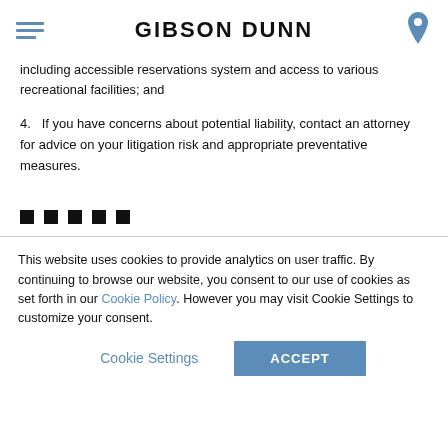GIBSON DUNN
including accessible reservations system and access to various recreational facilities; and
4.   If you have concerns about potential liability, contact an attorney for advice on your litigation risk and appropriate preventative measures.
■  ■  ■  ■  ■
This website uses cookies to provide analytics on user traffic. By continuing to browse our website, you consent to our use of cookies as set forth in our Cookie Policy. However you may visit Cookie Settings to customize your consent.